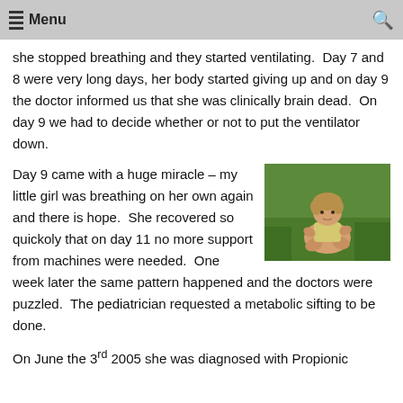Menu
she stopped breathing and they started ventilating.  Day 7 and 8 were very long days, her body started giving up and on day 9 the doctor informed us that she was clinically brain dead.  On day 9 we had to decide whether or not to put the ventilator down.
[Figure (photo): A young child sitting on green grass, wearing a yellow tank top, looking at the camera.]
Day 9 came with a huge miracle – my little girl was breathing on her own again and there is hope.  She recovered so quickoly that on day 11 no more support from machines were needed.  One week later the same pattern happened and the doctors were puzzled.  The pediatrician requested a metabolic sifting to be done.
On June the 3rd 2005 she was diagnosed with Propionic